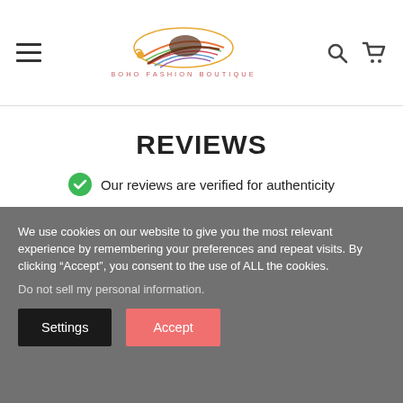[Figure (logo): Boho Fashion Boutique logo with colorful feather/leaf design and text 'BOHO FASHION BOUTIQUE' below]
REVIEWS
Our reviews are verified for authenticity
[Figure (infographic): Rating box showing score of 5 with orange background, followed by 5 orange stars]
We use cookies on our website to give you the most relevant experience by remembering your preferences and repeat visits. By clicking “Accept”, you consent to the use of ALL the cookies.
Do not sell my personal information.
Settings
Accept